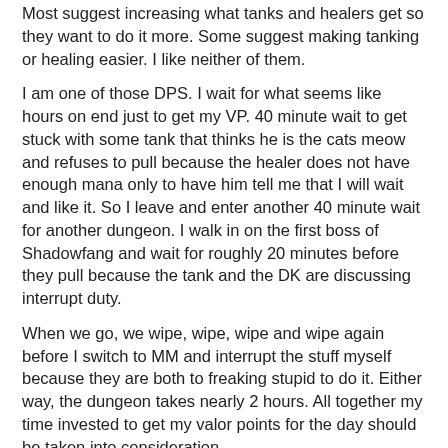Most suggest increasing what tanks and healers get so they want to do it more.  Some suggest making tanking or healing easier.  I like neither of them.
I am one of those DPS.  I wait for what seems like hours on end just to get my VP.  40 minute wait to get stuck with some tank that thinks he is the cats meow and refuses to pull because the healer does not have enough mana only to have him tell me that I will wait and like it.  So I leave and enter another 40 minute wait for another dungeon.  I walk in on the first boss of Shadowfang and wait for roughly 20 minutes before they pull because the tank and the DK are discussing interrupt duty.
When we go, we wipe, wipe, wipe and wipe again before I switch to MM and interrupt the stuff myself because they are both to freaking stupid to do it.  Either way, the dungeon takes nearly 2 hours.  All together my time invested to get my valor points for the day should be taken into consideration.
This is why I do no think tanks and healers should get more VP to entice them to queue up to make life easier on DPS.  I